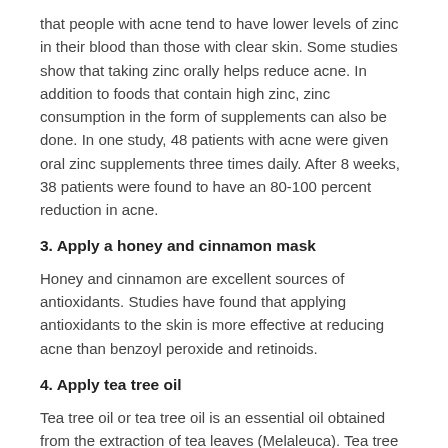that people with acne tend to have lower levels of zinc in their blood than those with clear skin. Some studies show that taking zinc orally helps reduce acne. In addition to foods that contain high zinc, zinc consumption in the form of supplements can also be done. In one study, 48 patients with acne were given oral zinc supplements three times daily. After 8 weeks, 38 patients were found to have an 80-100 percent reduction in acne.
3. Apply a honey and cinnamon mask
Honey and cinnamon are excellent sources of antioxidants. Studies have found that applying antioxidants to the skin is more effective at reducing acne than benzoyl peroxide and retinoids.
4. Apply tea tree oil
Tea tree oil or tea tree oil is an essential oil obtained from the extraction of tea leaves (Melaleuca). Tea tree